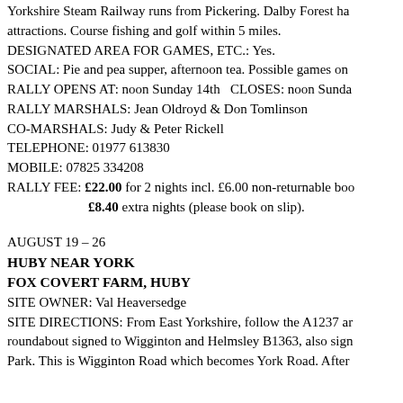Yorkshire Steam Railway runs from Pickering. Dalby Forest has attractions. Course fishing and golf within 5 miles.
DESIGNATED AREA FOR GAMES, ETC.: Yes.
SOCIAL: Pie and pea supper, afternoon tea. Possible games on
RALLY OPENS AT: noon Sunday 14th   CLOSES: noon Sunda
RALLY MARSHALS: Jean Oldroyd & Don Tomlinson
CO-MARSHALS: Judy & Peter Rickell
TELEPHONE: 01977 613830
MOBILE: 07825 334208
RALLY FEE: £22.00 for 2 nights incl. £6.00 non-returnable boo
£8.40 extra nights (please book on slip).
AUGUST 19 – 26
HUBY NEAR YORK
FOX COVERT FARM, HUBY
SITE OWNER: Val Heaversedge
SITE DIRECTIONS: From East Yorkshire, follow the A1237 ar roundabout signed to Wigginton and Helmsley B1363, also sign Park. This is Wigginton Road which becomes York Road. After